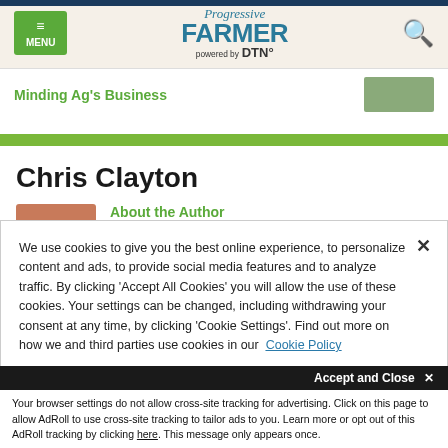Progressive FARMER powered by DTN
Minding Ag's Business
Chris Clayton
About the Author
We use cookies to give you the best online experience, to personalize content and ads, to provide social media features and to analyze traffic. By clicking 'Accept All Cookies' you will allow the use of these cookies. Your settings can be changed, including withdrawing your consent at any time, by clicking 'Cookie Settings'. Find out more on how we and third parties use cookies in our Cookie Policy
Accept and Close ×
Your browser settings do not allow cross-site tracking for advertising. Click on this page to allow AdRoll to use cross-site tracking to tailor ads to you. Learn more or opt out of this AdRoll tracking by clicking here. This message only appears once.